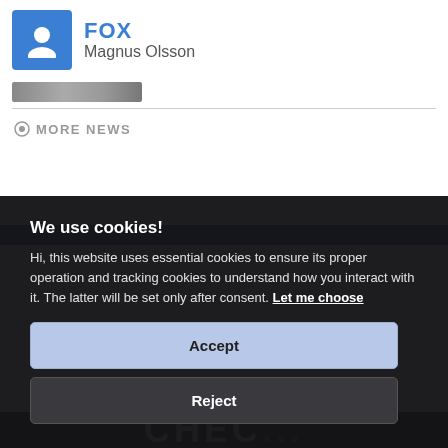FOX — Magnus Olsson
MORE NEWS
We use cookies! Hi, this website uses essential cookies to ensure its proper operation and tracking cookies to understand how you interact with it. The latter will be set only after consent. Let me choose
Accept
Reject